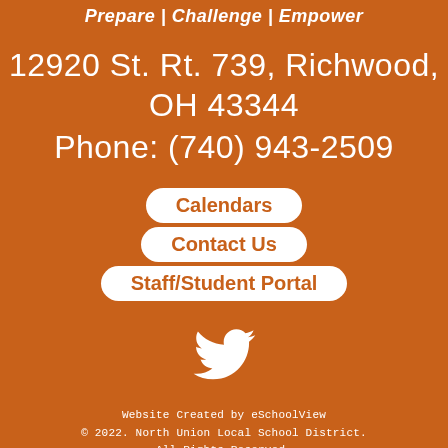Prepare | Challenge | Empower
12920 St. Rt. 739, Richwood, OH 43344
Phone: (740) 943-2509
Calendars
Contact Us
Staff/Student Portal
[Figure (logo): White Twitter bird icon]
Website Created by eSchoolView
© 2022. North Union Local School District. All Rights Reserved.